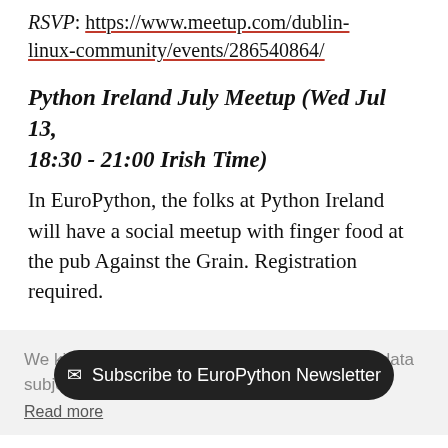RSVP: https://www.meetup.com/dublin-linux-community/events/286540864/
Python Ireland July Meetup (Wed Jul 13, 18:30 - 21:00 Irish Time)
In EuroPython, the folks at Python Ireland will have a social meetup with finger food at the pub Against the Grain. Registration required.
We kindly ask you for your consent to use your data subject to our privacy policy.
Read more
Subscribe to EuroPython Newsletter